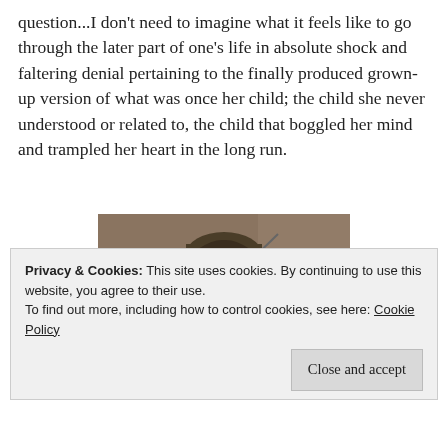question...I don't need to imagine what it feels like to go through the later part of one's life in absolute shock and faltering denial pertaining to the finally produced grown-up version of what was once her child; the child she never understood or related to, the child that boggled her mind and trampled her heart in the long run.
[Figure (photo): A woman wearing a wide-brimmed hat with a feather, looking upward, in a dim indoor setting.]
Privacy & Cookies: This site uses cookies. By continuing to use this website, you agree to their use.
To find out more, including how to control cookies, see here: Cookie Policy
Close and accept